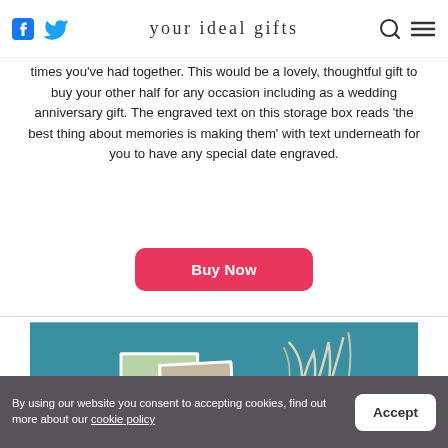your ideal gifts
times you've had together. This would be a lovely, thoughtful gift to buy your other half for any occasion including as a wedding anniversary gift. The engraved text on this storage box reads 'the best thing about memories is making them' with text underneath for you to have any special date engraved.
Buy Now
[Figure (photo): Photo of a photo book or collage item on a teal background with dried pampas grass decoration]
By using our website you consent to accepting cookies, find out more about our cookie policy